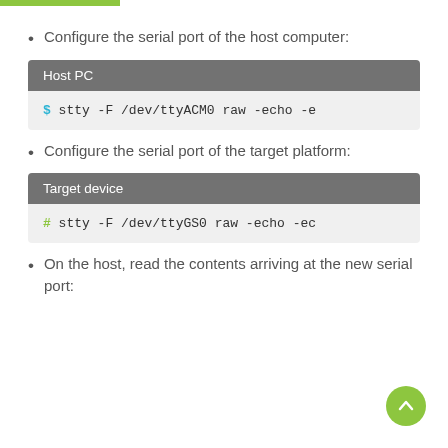Configure the serial port of the host computer:
Host PC
$ stty -F /dev/ttyACM0 raw -echo -e
Configure the serial port of the target platform:
Target device
# stty -F /dev/ttyGS0 raw -echo -ec
On the host, read the contents arriving at the new serial port: